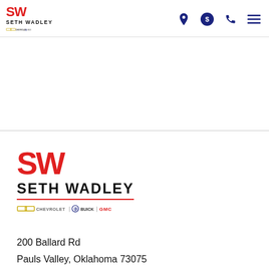[Figure (logo): Seth Wadley Chevrolet Buick GMC dealership logo (small, in header navigation bar)]
[Figure (logo): Seth Wadley Chevrolet Buick GMC dealership logo (large, in lower section of page)]
200 Ballard Rd
Pauls Valley, Oklahoma 73075